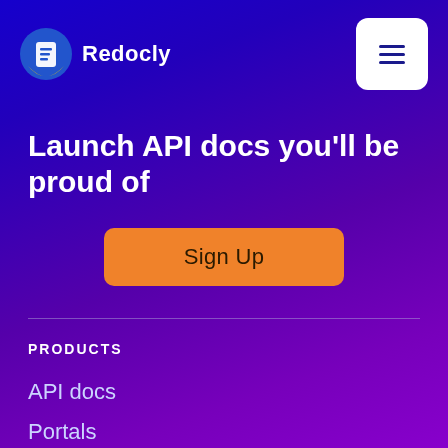[Figure (logo): Redocly logo: circular icon with blue and yellow design and a document/scroll symbol, next to the text Redocly in white]
Launch API docs you'll be proud of
Sign Up
PRODUCTS
API docs
Portals
Workflows
Redoc